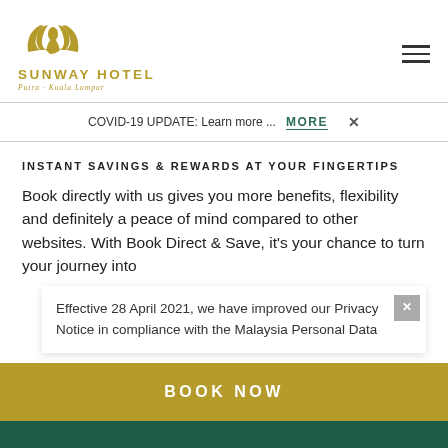[Figure (logo): Sunway Hotel Putra Kuala Lumpur logo with golden swan and text]
COVID-19 UPDATE: Learn more ... MORE ×
INSTANT SAVINGS & REWARDS AT YOUR FINGERTIPS
Book directly with us gives you more benefits, flexibility and definitely a peace of mind compared to other websites. With Book Direct & Save, it's your chance to turn your journey into
Effective 28 April 2021, we have improved our Privacy Notice in compliance with the Malaysia Personal Data
BOOK NOW
CONTACT US